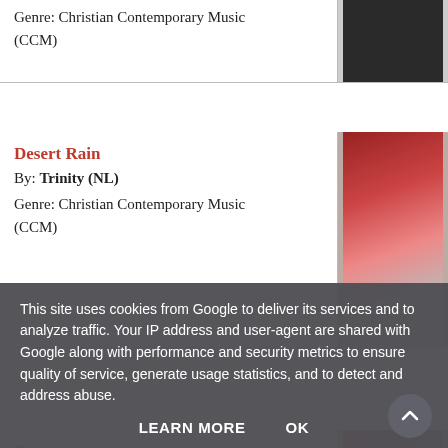Genre: Christian Contemporary Music (CCM)
[Figure (photo): Dark album cover photo]
Desert Rain
By: Trinity (NL)
Genre: Christian Contemporary Music (CCM)
[Figure (photo): Desert Rain album cover showing band in front of red building]
Remnant
By: Temple Worship
Genre: Christian Contemporary Music (CCM)
[Figure (photo): Remnant album cover with abstract red and white art]
This site uses cookies from Google to deliver its services and to analyze traffic. Your IP address and user-agent are shared with Google along with performance and security metrics to ensure quality of service, generate usage statistics, and to detect and address abuse.
LEARN MORE
OK